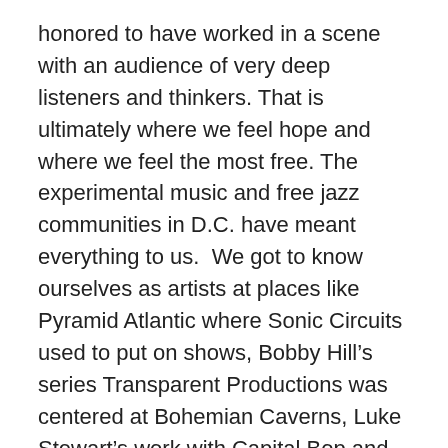honored to have worked in a scene with an audience of very deep listeners and thinkers. That is ultimately where we feel hope and where we feel the most free. The experimental music and free jazz communities in D.C. have meant everything to us.  We got to know ourselves as artists at places like Pyramid Atlantic where Sonic Circuits used to put on shows, Bobby Hill's series Transparent Productions was centered at Bohemian Caverns, Luke Stewart's work with Capital Bop and at Union Arts and I did a residency at Twins and we played who knows how many shows there. We love the welcoming nature of these groups of people who just want to listen and be taken somewhere for a while and they don't shy from being challenged sonically. It's refreshing to call on your bodies instincts to play creatively and with abandon. That personally brings me joy and I hope you'll enjoy this Janel and Anthony set of